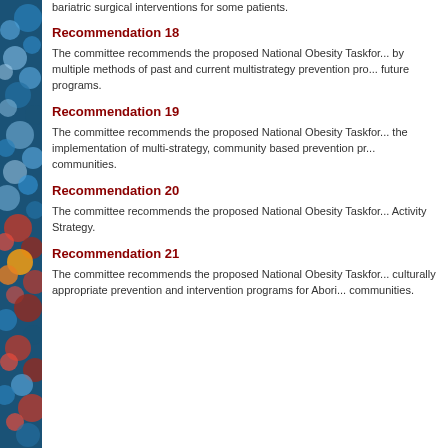bariatric surgical interventions for some patients.
Recommendation 18
The committee recommends the proposed National Obesity Taskforce consider by multiple methods of past and current multistrategy prevention programs in future programs.
Recommendation 19
The committee recommends the proposed National Obesity Taskforce support the implementation of multi-strategy, community based prevention programs in communities.
Recommendation 20
The committee recommends the proposed National Obesity Taskforce support a Activity Strategy.
Recommendation 21
The committee recommends the proposed National Obesity Taskforce support culturally appropriate prevention and intervention programs for Aboriginal communities.